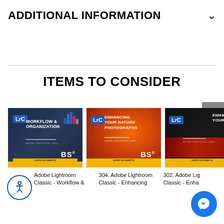ADDITIONAL INFORMATION
ITEMS TO CONSIDER
[Figure (photo): Adobe Lightroom Classic - Workflow & Organization course thumbnail. Dark blue background with 'LrC' badge and 'Workflow & Organization' text, BSI logo.]
[Figure (photo): Adobe Lightroom Classic - Enhancing Your Nature Photographs course thumbnail. Orange/red swirling nature background with 'LrC' badge, text, and BSI logo.]
[Figure (photo): Adobe Lightroom Classic - Enhance Your Images course thumbnail. Dark background with red sports car, 'LrC' badge and partial text.]
Adobe Lightroom Classic - Workflow &
304. Adobe Lightroom Classic - Enhancing
302. Adobe Lightroom Classic - Enha